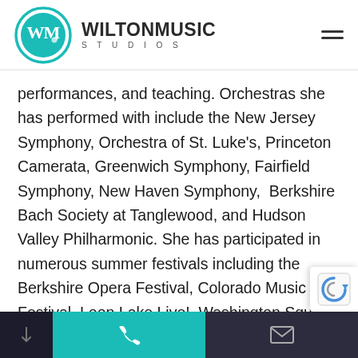[Figure (logo): Wilton Music Studios logo: teal circle with WM monogram and music note, beside bold text WILTONMUSIC STUDIOS]
performances, and teaching. Orchestras she has performed with include the New Jersey Symphony, Orchestra of St. Luke's, Princeton Camerata, Greenwich Symphony, Fairfield Symphony, New Haven Symphony,  Berkshire Bach Society at Tanglewood, and Hudson Valley Philharmonic. She has participated in numerous summer festivals including the Berkshire Opera Festival, Colorado Music Festival, Loon Lake Live!, Washington Square Park Festival, and has been a featured soloist with the New York Bach Ensemble and Orchestra of the
phone and email mobile navigation bar